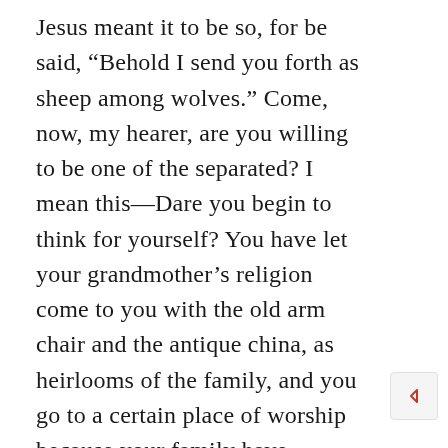Jesus meant it to be so, for be said, “Behold I send you forth as sheep among wolves.” Come, now, my hearer, are you willing to be one of the separated? I mean this—Dare you begin to think for yourself? You have let your grandmother’s religion come to you with the old arm chair and the antique china, as heirlooms of the family, and you go to a certain place of worship because your family have always attended there. You have a sort of hereditary religion in the same way as you have a display of family plate; pretty battered it is, no